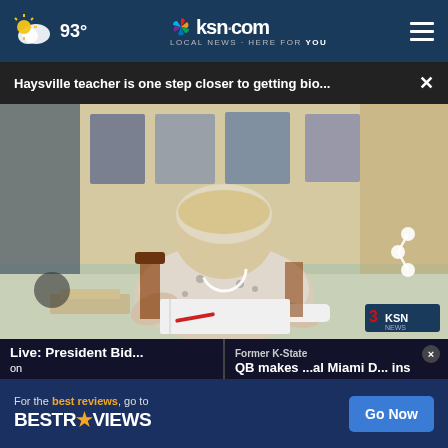93° ksn.com LOCAL NEWS · HERE FOR YOU
Haysville teacher is one step closer to getting bio...  ×
[Figure (screenshot): Video screenshot of a woman sitting at a desk writing, in a home/dining room setting, with a KSN news watermark in the bottom right and a share icon overlay. A spinning loading arc is visible in the center.]
Live: President Bid... on
Former K-State QB makes ...al Miami D... ins  ×
For the best reviews, go to BESTREVIEWS  Go Now